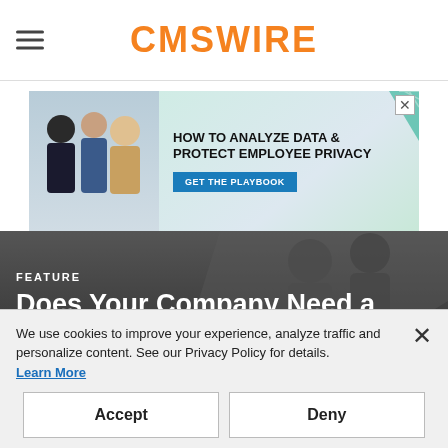CMSWIRE
[Figure (photo): Advertisement banner: 'HOW TO ANALYZE DATA & PROTECT EMPLOYEE PRIVACY – GET THE PLAYBOOK' with people on left and teal background graphics]
FEATURE
Does Your Company Need a Combined Chief of Data and
We use cookies to improve your experience, analyze traffic and personalize content. See our Privacy Policy for details. Learn More
Accept   Deny